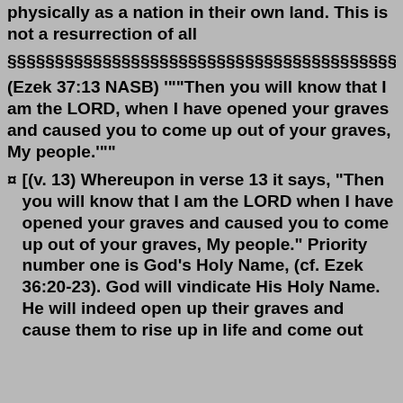physically as a nation in their own land. This is not a resurrection of all
§§§§§§§§§§§§§§§§§§§§§§§§§§§§§§§§§§§§§§§§§§§§§§§§§§§§
(Ezek 37:13 NASB) '"'Then you will know that I am the LORD, when I have opened your graves and caused you to come up out of your graves, My people.'"'
[(v. 13) Whereupon in verse 13 it says, "Then you will know that I am the LORD when I have opened your graves and caused you to come up out of your graves, My people." Priority number one is God's Holy Name, (cf. Ezek 36:20-23). God will vindicate His Holy Name. He will indeed open up their graves and cause them to rise up in life and come out